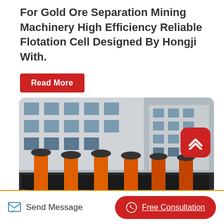For Gold Ore Separation Mining Machinery High Efficiency Reliable Flotation Cell Designed By Hongji With.
Read More
[Figure (photo): Industrial flotation cell mining machinery with orange/red metal components, multiple rotating units on a long frame, photographed outdoors in front of a factory building. A scroll-to-top button (red rounded square with upward chevron icon) is overlaid on the top right of the image.]
Send Message
Free Consultation